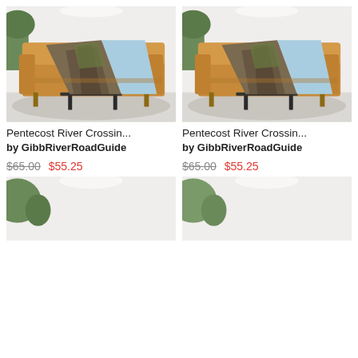[Figure (photo): Product photo: throw blanket with Pentecost River Crossing print draped over a tan leather sofa in a living room setting]
Pentecost River Crossin...
by GibbRiverRoadGuide
$65.00  $55.25
[Figure (photo): Product photo: throw blanket with Pentecost River Crossing print draped over a tan leather sofa in a living room setting]
Pentecost River Crossin...
by GibbRiverRoadGuide
$65.00  $55.25
[Figure (photo): Partial product photo: bottom portion of a living room product image with plant visible]
[Figure (photo): Partial product photo: bottom portion of a living room product image with plant visible]